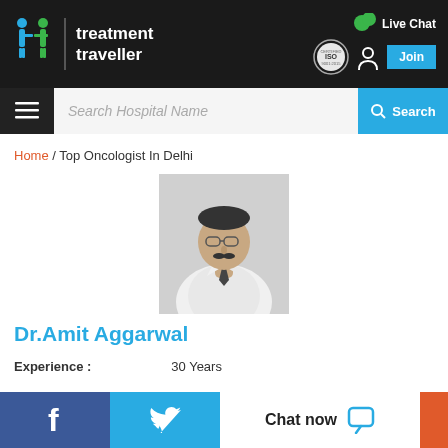[Figure (screenshot): Treatment Traveller website header with logo, Live Chat button, ISO badge, user icon, Join button]
[Figure (screenshot): Search bar with hamburger menu, Search Hospital Name input, and Search button]
Home / Top Oncologist In Delhi
[Figure (photo): Black and white photo of Dr. Amit Aggarwal in a white coat]
Dr.Amit Aggarwal
Experience : 30 Years
Education : MBBS MD DM
Specialization : Medical Oncology
Department : Oncolo...
[Figure (screenshot): Bottom bar with Facebook, Twitter, and Chat now buttons]